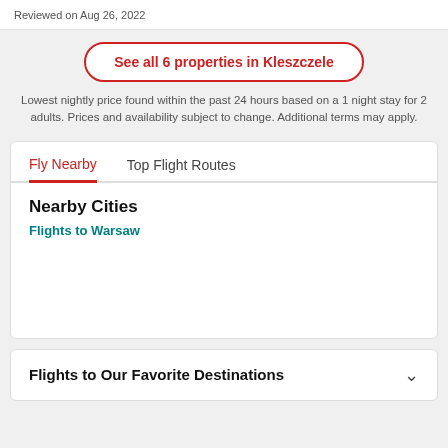Reviewed on Aug 26, 2022
See all 6 properties in Kleszczele
Lowest nightly price found within the past 24 hours based on a 1 night stay for 2 adults. Prices and availability subject to change. Additional terms may apply.
Fly Nearby	Top Flight Routes
Nearby Cities
Flights to Warsaw
Flights to Our Favorite Destinations